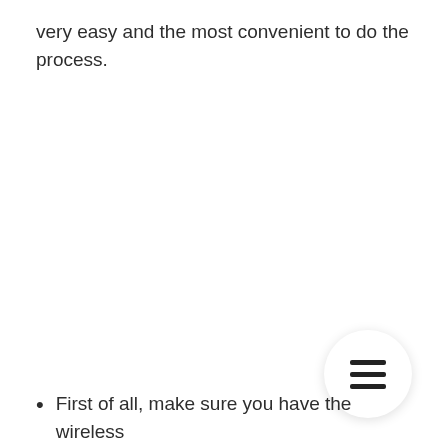very easy and the most convenient to do the process.
[Figure (other): Hamburger menu button (three horizontal lines) inside a white circular button with shadow]
First of all, make sure you have the wireless